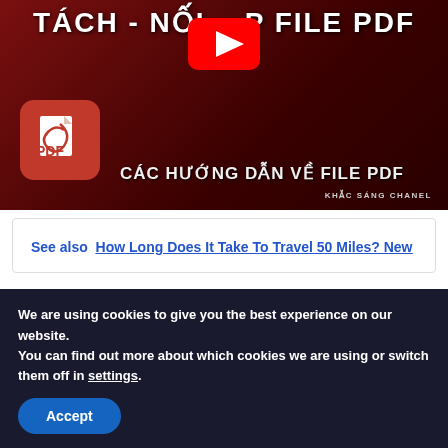[Figure (screenshot): YouTube video thumbnail with dark red background, YouTube play button icon, PDF icon on the lower left, text 'CÁC HƯỚNG DẪN VỀ FILE PDF' in white bold, 'KHẮC SÁNG CHANEL' watermark bottom right, partial title text 'TÁCH - NỐI...P FILE PDF' at top]
See also  How Long Does It Take To Travel 50 Miles? New
Images related to the topicXoay +
We are using cookies to give you the best experience on our website.
You can find out more about which cookies we are using or switch them off in settings.
Accept